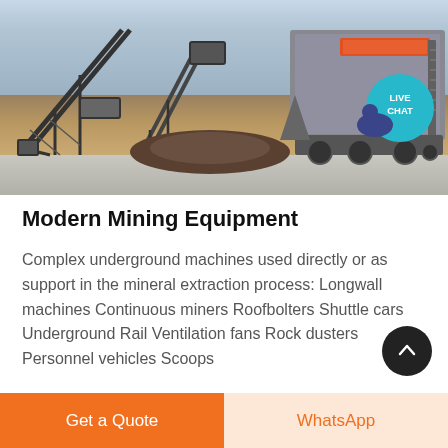[Figure (photo): Mining equipment including conveyors and crushers at an open-air mining site, with a live chat bubble overlay in the top right]
Modern Mining Equipment
Complex underground machines used directly or as support in the mineral extraction process: Longwall machines Continuous miners Roofbolters Shuttle cars Underground Rail Ventilation fans Rock dusters Personnel vehicles Scoops